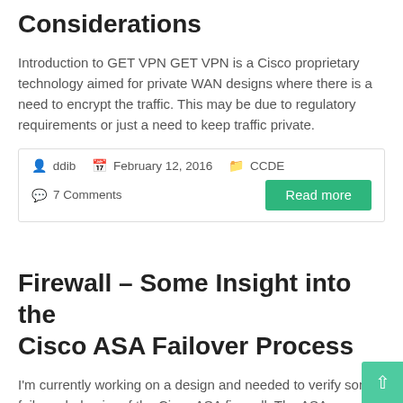Considerations
Introduction to GET VPN GET VPN is a Cisco proprietary technology aimed for private WAN designs where there is a need to encrypt the traffic. This may be due to regulatory requirements or just a need to keep traffic private.
ddib  February 12, 2016  CCDE  7 Comments  Read more
Firewall – Some Insight into the Cisco ASA Failover Process
I'm currently working on a design and needed to verify some failover behavior of the Cisco ASA firewall. The ASA can run in active/active or active/standby mode where most